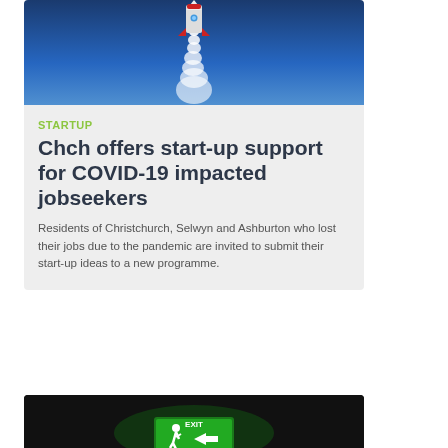[Figure (photo): Rocket launching against blue sky with white smoke trail]
STARTUP
Chch offers start-up support for COVID-19 impacted jobseekers
Residents of Christchurch, Selwyn and Ashburton who lost their jobs due to the pandemic are invited to submit their start-up ideas to a new programme.
[Figure (photo): Emergency exit sign glowing green in a dark corridor]